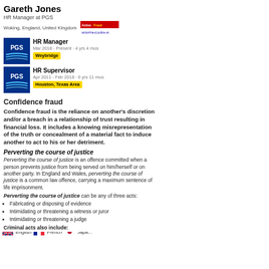Gareth Jones
HR Manager at PGS
Woking, England, United Kingdom
HR Manager
Mar 2018 - Present · 4 yrs 4 mos
Weybridge
HR Supervisor
Apr 2011 - Feb 2018 · 6 yrs 11 mos
Houston, Texas Area
Confidence fraud
Confidence fraud is the reliance on another's discretion and/or a breach in a relationship of trust resulting in financial loss. It includes a knowing misrepresentation of the truth or concealment of a material fact to induce another to act to his or her detriment.
Perverting the course of justice
Perverting the course of justice is an offence committed when a person prevents justice from being served on him/herself or on another party. In England and Wales, perverting the course of justice is a common law offence, carrying a maximum sentence of life imprisonment.
Perverting the course of justice can be any of three acts:
Fabricating or disposing of evidence
Intimidating or threatening a witness or juror
Intimidating or threatening a judge
Criminal acts also include:
Public Interest Disclosure Act 1998 (PIDA)
Workers are to be protected when the public disclosure consists of information where the worker reasonably believes that there has been a criminal offence, breach of a legal obligation, a miscarriage of justice, a danger to the health and safety of any individual, damage to the environment, or a deliberate attempt to conceal such acts.
PIDA Section 43J ERA Contractual duties of confidentiality
(1) Any provision in an agreement to which this section applies is void in so far as it purports to preclude the worker from making a protected disclosure.
(2) This section applies to any agreement between a worker and his employer (whether a worker's contract or not), including an agreement to refrain from instituting or continuing any proceedings under this Act or any proceedings for breach of contract.
The Limitation Act 1980
Under the Limitation Act 1980 (the Act), the applicable limitation for defamation is one year from the date of accrual of the claim, which in libel claims accrued at the time of publication.
Defamation of character is any intentional false communication, either written or spoken, that harms a person's reputation; decreases the respect, regard, or confidence in which a person is held; or induces disparaging, hostile, or disagreeable opinions or feelings against a person.
When the truth is replaced by silence, the silence is a lie.
~ Yevgeny Yevtushenko